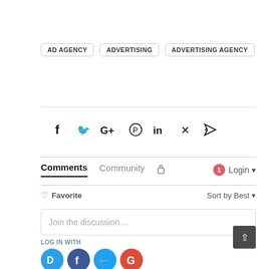AD AGENCY
ADVERTISING
ADVERTISING AGENCY
[Figure (infographic): Social share icons: Facebook, Twitter, Google+, Pinterest, LinkedIn, Xing, Email/send]
Comments   Community   Login
Favorite   Sort by Best
Join the discussion...
LOG IN WITH
[Figure (infographic): Social login icons: Disqus (blue), Facebook (dark blue), Twitter (light blue), Google (red)]